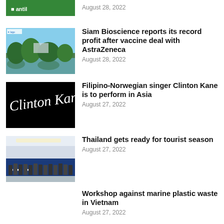[Figure (photo): Partial cropped green banner image at top of page]
August 28, 2022
[Figure (photo): Photo of a park with trees reflected in water]
Siam Bioscience reports its record profit after vaccine deal with AstraZeneca
August 28, 2022
[Figure (photo): Black background with white cursive signature reading Clinton Kane]
Filipino-Norwegian singer Clinton Kane is to perform in Asia
August 27, 2022
[Figure (photo): Group photo of people in a conference room with blue stage backdrop]
Thailand gets ready for tourist season
August 27, 2022
Workshop against marine plastic waste in Vietnam
August 27, 2022